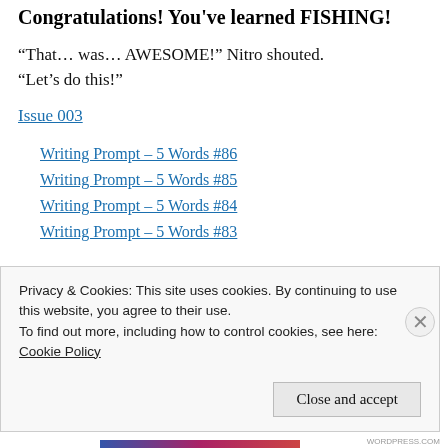Congratulations! You've learned FISHING!
“That… was… AWESOME!” Nitro shouted. “Let’s do this!”
Issue 003
Writing Prompt – 5 Words #86
Writing Prompt – 5 Words #85
Writing Prompt – 5 Words #84
Writing Prompt – 5 Words #83
Privacy & Cookies: This site uses cookies. By continuing to use this website, you agree to their use.
To find out more, including how to control cookies, see here:
Cookie Policy
Close and accept